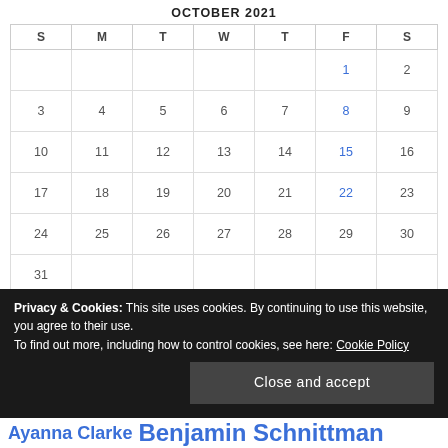OCTOBER 2021
| S | M | T | W | T | F | S |
| --- | --- | --- | --- | --- | --- | --- |
|  |  |  |  |  | 1 | 2 |
| 3 | 4 | 5 | 6 | 7 | 8 | 9 |
| 10 | 11 | 12 | 13 | 14 | 15 | 16 |
| 17 | 18 | 19 | 20 | 21 | 22 | 23 |
| 24 | 25 | 26 | 27 | 28 | 29 | 30 |
| 31 |  |  |  |  |  |  |
« Sep   Nov »
Privacy & Cookies: This site uses cookies. By continuing to use this website, you agree to their use.
To find out more, including how to control cookies, see here: Cookie Policy
Close and accept
Ayanna Clarke Benjamin Schnittman